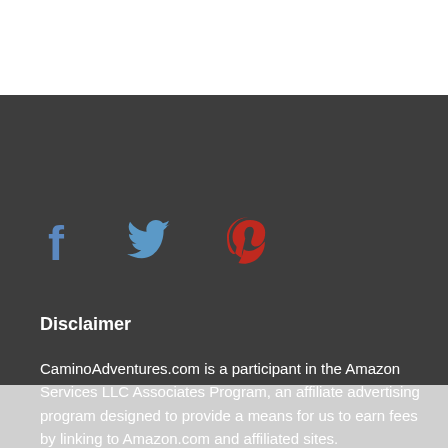[Figure (infographic): Three social media icons: Facebook (blue f), Twitter (blue bird), Pinterest (red P)]
Disclaimer
CaminoAdventures.com is a participant in the Amazon Services LLC Associates Program, an affiliate advertising program designed to provide a means for us to earn fees by linking to Amazon.com and affiliated sites.